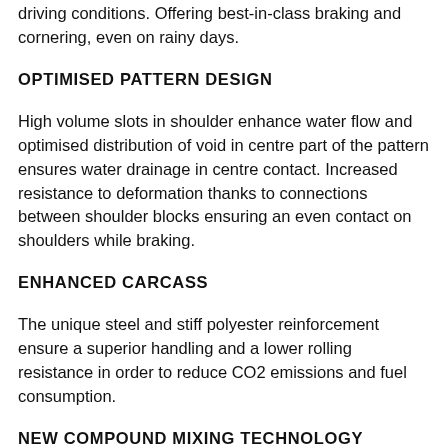driving conditions. Offering best-in-class braking and cornering, even on rainy days.
OPTIMISED PATTERN DESIGN
High volume slots in shoulder enhance water flow and optimised distribution of void in centre part of the pattern ensures water drainage in centre contact. Increased resistance to deformation thanks to connections between shoulder blocks ensuring an even contact on shoulders while braking.
ENHANCED CARCASS
The unique steel and stiff polyester reinforcement ensure a superior handling and a lower rolling resistance in order to reduce CO2 emissions and fuel consumption.
NEW COMPOUND MIXING TECHNOLOGY